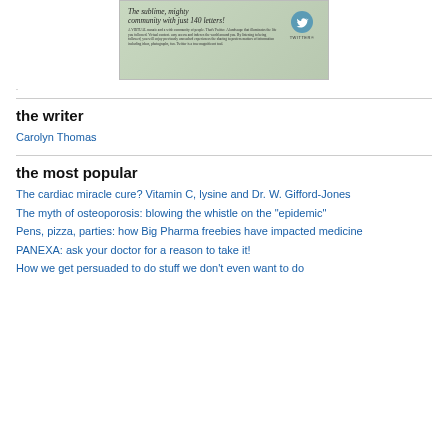[Figure (illustration): Vintage Twitter advertisement with cursive headline 'The sublime, mighty community with just 140 letters!' and small body text, with Twitter bird logo in a teal circle and 'TWITTER' text, on a green-tinted background.]
.
the writer
Carolyn Thomas
the most popular
The cardiac miracle cure? Vitamin C, lysine and Dr. W. Gifford-Jones
The myth of osteoporosis: blowing the whistle on the "epidemic"
Pens, pizza, parties: how Big Pharma freebies have impacted medicine
PANEXA: ask your doctor for a reason to take it!
How we get persuaded to do stuff we don't even want to do